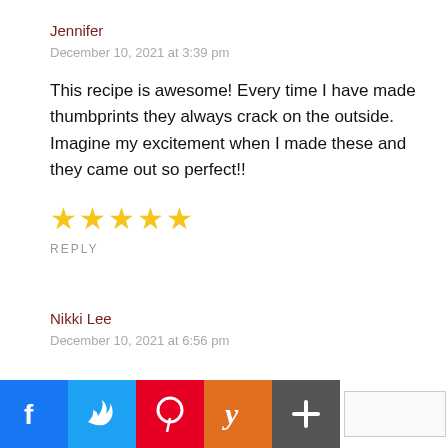Jennifer
December 10, 2021 at 3:39 pm
This recipe is awesome! Every time I have made thumbprints they always crack on the outside. Imagine my excitement when I made these and they came out so perfect!!
[Figure (other): Five gold star rating icons]
REPLY
Nikki Lee
December 10, 2021 at 6:56 pm
Beautifull
[Figure (other): Social sharing bar with Facebook, Twitter, Pinterest, Yummly, and a plus/add button, plus an empty white button]